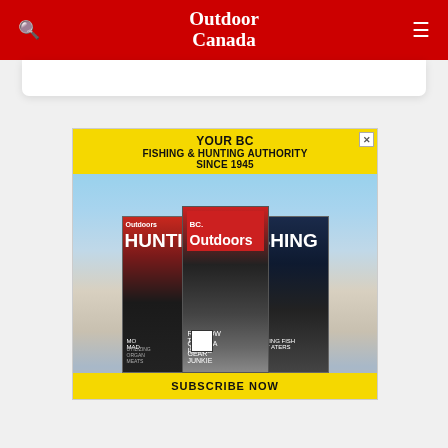Outdoor Canada
[Figure (illustration): Advertisement for BC Outdoors magazine subscription. Yellow banner header reading 'YOUR BC FISHING & HUNTING AUTHORITY SINCE 1945'. Three magazine covers displayed (Hunting, BC Outdoors, Fishing). Yellow footer reading 'SUBSCRIBE NOW'.]